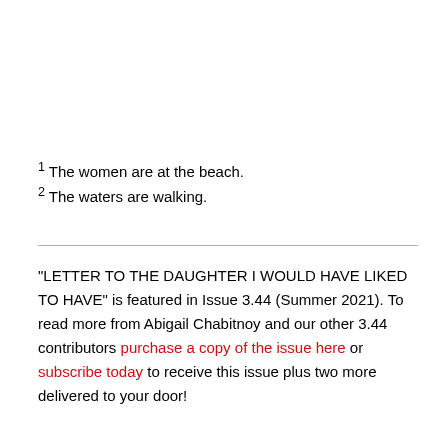¹ The women are at the beach.
² The waters are walking.
"LETTER TO THE DAUGHTER I WOULD HAVE LIKED TO HAVE" is featured in Issue 3.44 (Summer 2021). To read more from Abigail Chabitnoy and our other 3.44 contributors purchase a copy of the issue here or subscribe today to receive this issue plus two more delivered to your door!